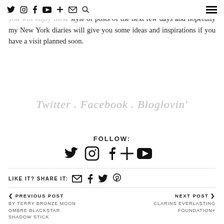Navigation bar with social icons: Twitter, Instagram, Facebook, YouTube, Add, Email, Search, and hamburger menu
smell the warm sourdough and melting mozzarella as I type. I hope you will enjoy these style of posts of the next few days and hopefully my New York diaries will give you some ideas and inspirations if you have a visit planned soon.
Twitter . Facebook . Bloglovin'
FOLLOW:
Social follow icons: Twitter, Instagram, Facebook, Add, YouTube
LIKE IT? SHARE IT: [email] [facebook] [twitter] [pinterest]
< PREVIOUS POST
BY TERRY BRONZE MOON OMBRE BLACKSTAR SHADOW STICK
NEXT POST >
CLARINS EVERLASTING FOUNDATION+